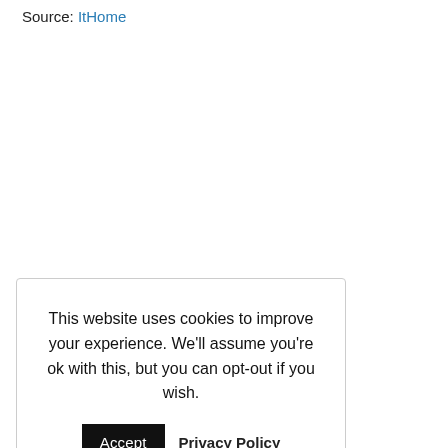Source: ItHome
This website uses cookies to improve your experience. We'll assume you're ok with this, but you can opt-out if you wish.
Accept  Privacy Policy